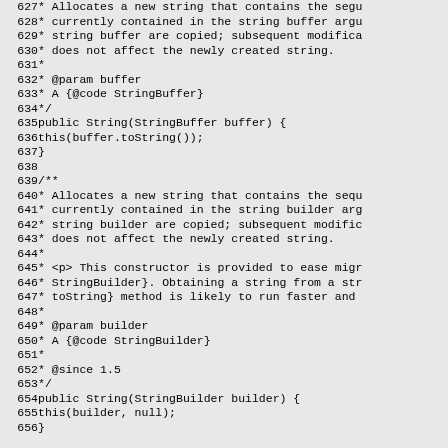Source code listing lines 627-656, Java String class constructors with Javadoc comments